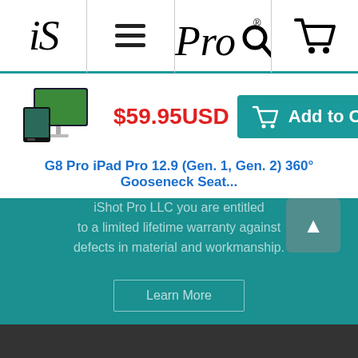iS | ≡ | Pro® | 🛒
[Figure (screenshot): Product thumbnail showing a tablet/monitor display on white background]
$59.95USD
Add to Cart
G8 Pro iPad Pro 12.9 (Gen. 1, Gen. 2) 360° Gooseneck Seat...
iShot Pro LLC you are entitled to a limited lifetime warranty against defects in material and workmanship.
Learn More